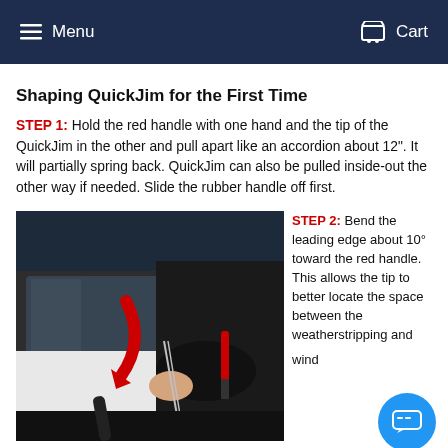Menu  Cart
Shaping QuickJim for the First Time
STEP 1: Hold the red handle with one hand and the tip of the QuickJim in the other and pull apart like an accordion about 12". It will partially spring back. QuickJim can also be pulled inside-out the other way if needed. Slide the rubber handle off first.
[Figure (photo): Person using a slim jim / lockout tool to open a car door, with a red arrow indicating motion and a red-handled tool visible. A red arrow curves downward near the window seal area.]
STEP 2: Bend the leading edge about 10° toward the red handle. This allows the tip to better locate the space between the weatherstripping and window.